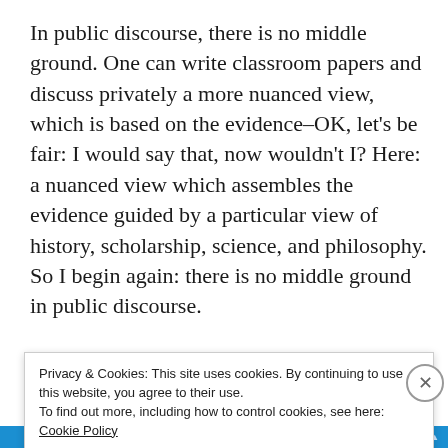In public discourse, there is no middle ground. One can write classroom papers and discuss privately a more nuanced view, which is based on the evidence–OK, let's be fair: I would say that, now wouldn't I? Here: a nuanced view which assembles the evidence guided by a particular view of history, scholarship, science, and philosophy. So I begin again: there is no middle ground in public discourse.
I...
Privacy & Cookies: This site uses cookies. By continuing to use this website, you agree to their use. To find out more, including how to control cookies, see here: Cookie Policy
Close and accept